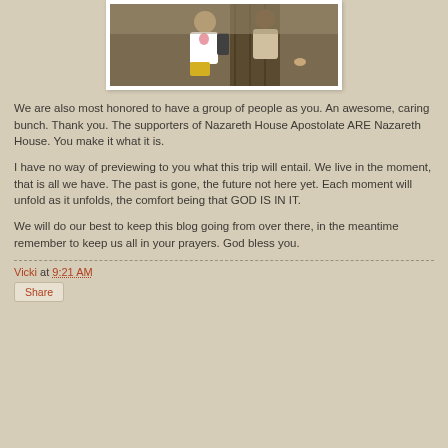[Figure (photo): Photo showing people near a wooden door/gate, one person wearing a white t-shirt with a backpack]
We are also most honored to have a group of people as you. An awesome, caring bunch. Thank you. The supporters of Nazareth House Apostolate ARE Nazareth House. You make it what it is.
I have no way of previewing to you what this trip will entail. We live in the moment, that is all we have. The past is gone, the future not here yet. Each moment will unfold as it unfolds, the comfort being that GOD IS IN IT.
We will do our best to keep this blog going from over there, in the meantime remember to keep us all in your prayers. God bless you.
Vicki at 9:21 AM
Share